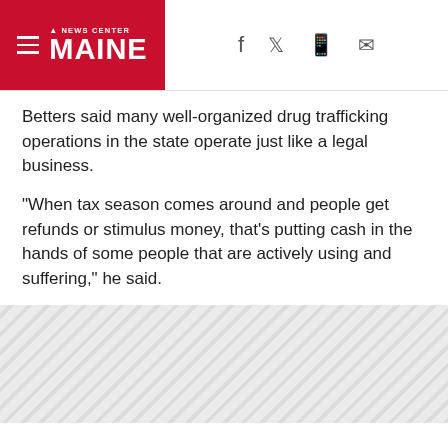NEWS CENTER MAINE
Betters said many well-organized drug trafficking operations in the state operate just like a legal business.
"When tax season comes around and people get refunds or stimulus money, that's putting cash in the hands of some people that are actively using and suffering," he said.
[Figure (other): Advertisement placeholder with diagonal hatching pattern]
"All of my money was going to drugs and alcohol," said Grondin.
Scott Pelletier is commander of the Maine Drug Enforcement Agency. Pelletier said most drugs are coming